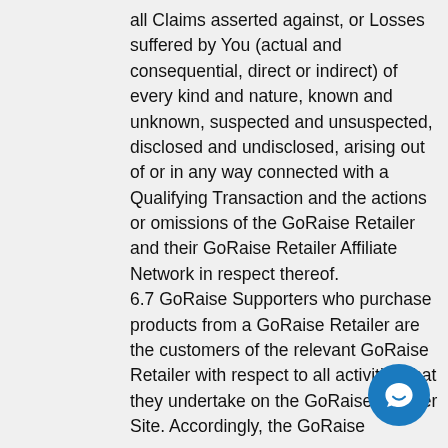all Claims asserted against, or Losses suffered by You (actual and consequential, direct or indirect) of every kind and nature, known and unknown, suspected and unsuspected, disclosed and undisclosed, arising out of or in any way connected with a Qualifying Transaction and the actions or omissions of the GoRaise Retailer and their GoRaise Retailer Affiliate Network in respect thereof. 6.7 GoRaise Supporters who purchase products from a GoRaise Retailer are the customers of the relevant GoRaise Retailer with respect to all activities that they undertake on the GoRaise Retailer Site. Accordingly, the GoRaise